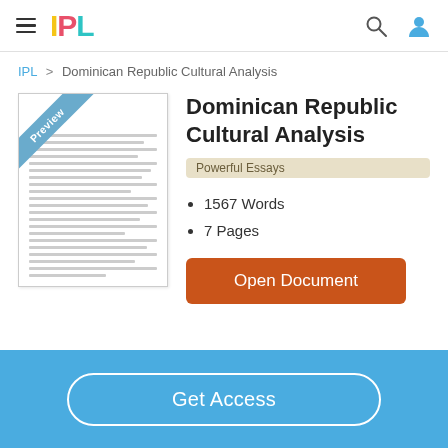IPL
IPL > Dominican Republic Cultural Analysis
Dominican Republic Cultural Analysis
Powerful Essays
1567 Words
7 Pages
Open Document
Get Access